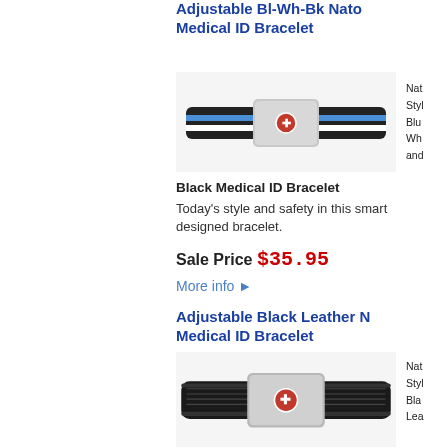Adjustable Bl-Wh-Bk Nato Medical ID Bracelet
[Figure (photo): Black, white and blue striped NATO-style medical ID bracelet with red caduceus symbol on silver plate]
Nat Styl Blu Wh and
Black Medical ID Bracelet
Today's style and safety in this smart designed bracelet.
Sale Price $35.95
More info ►
Adjustable Black Leather N Medical ID Bracelet
[Figure (photo): Black leather adjustable medical ID bracelet with red caduceus symbol on silver plate]
Nat Styl Bla Lea
Medical ID Bracelet
Today's style and safety in this fashion forward bracelet.